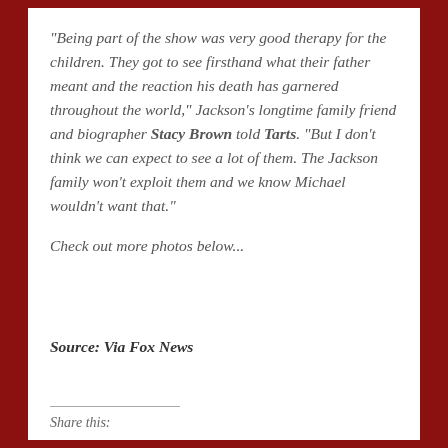“Being part of the show was very good therapy for the children. They got to see firsthand what their father meant and the reaction his death has garnered throughout the world,” Jackson’s longtime family friend and biographer Stacy Brown told Tarts. “But I don’t think we can expect to see a lot of them. The Jackson family won’t exploit them and we know Michael wouldn’t want that.”
Check out more photos below...
Source: Via Fox News
Share this: